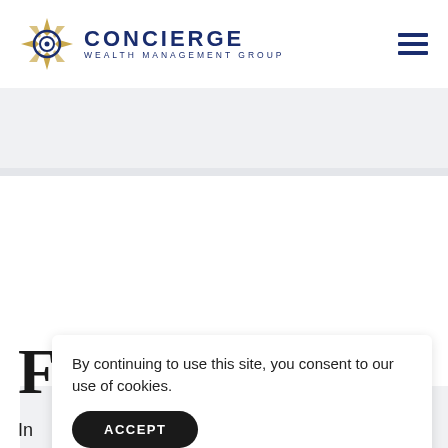[Figure (logo): Concierge Wealth Management Group logo with compass star icon in gold and navy blue]
[Figure (other): Hamburger/menu icon (three horizontal navy lines) in top right header]
[Figure (other): Grey banner placeholder area below header]
[Figure (other): Grey image/content placeholder box in main content area]
F
In
By continuing to use this site, you consent to our use of cookies.
ACCEPT